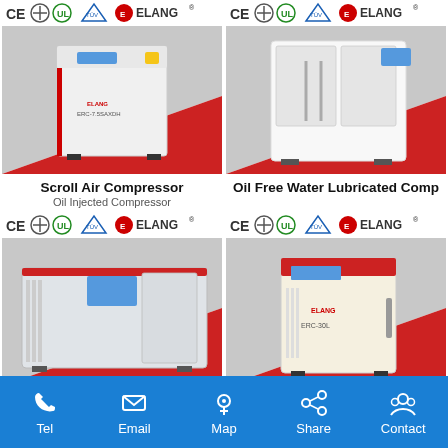[Figure (photo): Scroll Air Compressor - Oil Injected Compressor product image with CE, UL, TUV certifications and ELANG logo on red/grey background]
Scroll Air Compressor
Oil Injected Compressor
[Figure (photo): Oil Free Water Lubricated Compressor product image with CE, UL, TUV certifications and ELANG logo]
Oil Free Water Lubricated Comp...
[Figure (photo): Direct Driven Screw Compressor product image with CE, UL, TUV certifications and ELANG logo on red/grey background]
Direct Driven Screw Compressor
Energy Saving Compressor
[Figure (photo): Belt Driven Screw Compressor product image with CE, UL, TUV certifications and ELANG logo]
Belt Driven Screw Compressor
Tel   Email   Map   Share   Contact